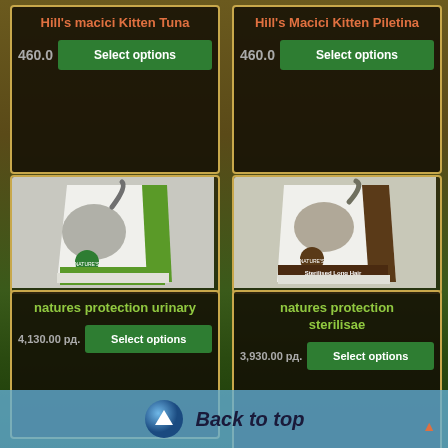Hill's macici Kitten Tuna
460.00
Select options
Hill's Macici Kitten Piletina
460.00
Select options
[Figure (photo): Nature's Protection Urinary Formula cat food bag with cat image, green accent]
[Figure (photo): Nature's Protection Sterilised Long Hair cat food bag with cat image, brown accent]
natures protection urinary
Select options
4,130.00 рд.
natures protection sterilisa
Select options
3,930.00 рд.
Back to top